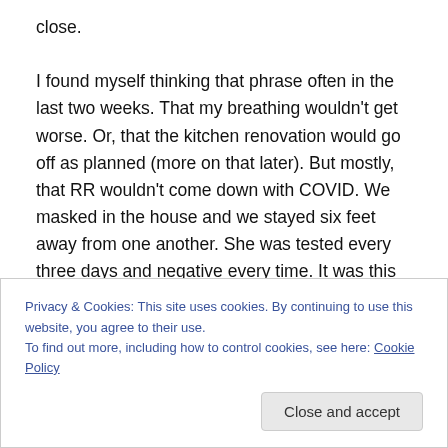close. I found myself thinking that phrase often in the last two weeks. That my breathing wouldn't get worse. Or, that the kitchen renovation would go off as planned (more on that later). But mostly, that RR wouldn't come down with COVID. We masked in the house and we stayed six feet away from one another. She was tested every three days and negative every time. It was this last test that had me close to prayer. Let it have been enough. It have been 14 days since she has been at school. 14 days since she has
Privacy & Cookies: This site uses cookies. By continuing to use this website, you agree to their use. To find out more, including how to control cookies, see here: Cookie Policy
Close and accept